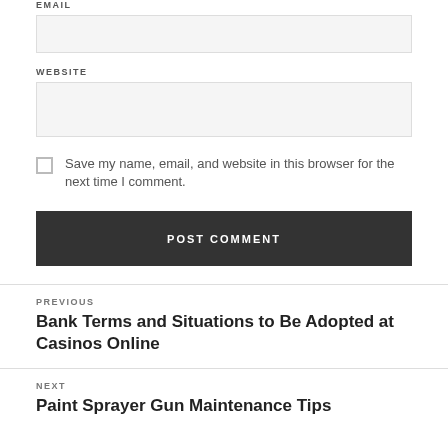EMAIL
[Figure (other): Empty email input text box]
WEBSITE
[Figure (other): Empty website input text box]
Save my name, email, and website in this browser for the next time I comment.
POST COMMENT
PREVIOUS
Bank Terms and Situations to Be Adopted at Casinos Online
NEXT
Paint Sprayer Gun Maintenance Tips